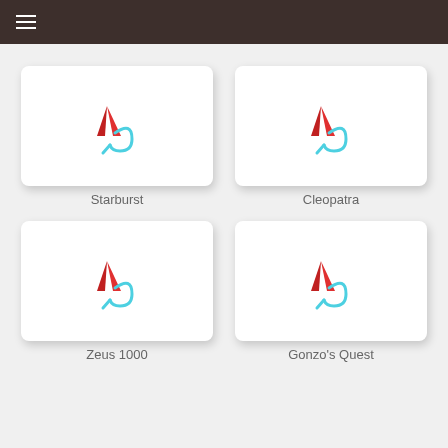[Figure (logo): Starburst game card with stylized red and cyan logo]
Starburst
[Figure (logo): Cleopatra game card with stylized red and cyan logo]
Cleopatra
[Figure (logo): Zeus 1000 game card with stylized red and cyan logo]
Zeus 1000
[Figure (logo): Gonzo's Quest game card with stylized red and cyan logo]
Gonzo's Quest